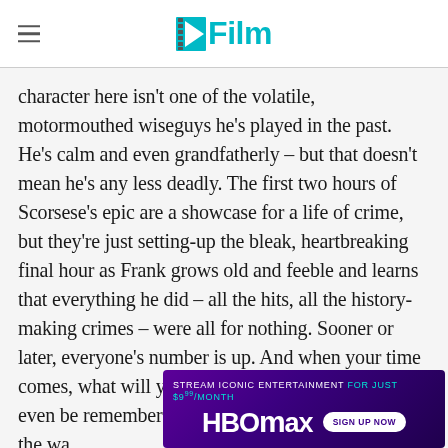/Film
character here isn't one of the volatile, motormouthed wiseguys he's played in the past. He's calm and even grandfatherly – but that doesn't mean he's any less deadly. The first two hours of Scorsese's epic are a showcase for a life of crime, but they're just setting-up the bleak, heartbreaking final hour as Frank grows old and feeble and learns that everything he did – all the hits, all the history-making crimes – were all for nothing. Sooner or later, everyone's number is up. And when your time comes, what will you be remembered for? Will you even be remembered at all? Don't close the door all the wa
[Figure (other): HBO Max advertisement banner: 'STREAM ICONIC ENTERTAINMENT FOR JUST $9.99/MONTH' with HBO Max logo and 'SIGN UP NOW' button on purple gradient background]